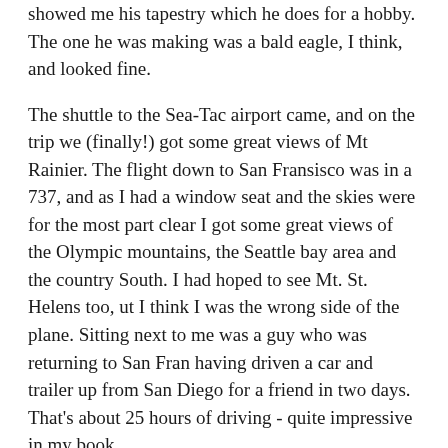showed me his tapestry which he does for a hobby. The one he was making was a bald eagle, I think, and looked fine.
The shuttle to the Sea-Tac airport came, and on the trip we (finally!) got some great views of Mt Rainier. The flight down to San Fransisco was in a 737, and as I had a window seat and the skies were for the most part clear I got some great views of the Olympic mountains, the Seattle bay area and the country South. I had hoped to see Mt. St. Helens too, ut I think I was the wrong side of the plane. Sitting next to me was a guy who was returning to San Fran having driven a car and trailer up from San Diego for a friend in two days. That's about 25 hours of driving - quite impressive in my book.
San Franisco itself was covered in cloud, and I didn't see much of the city either landing or taking off again